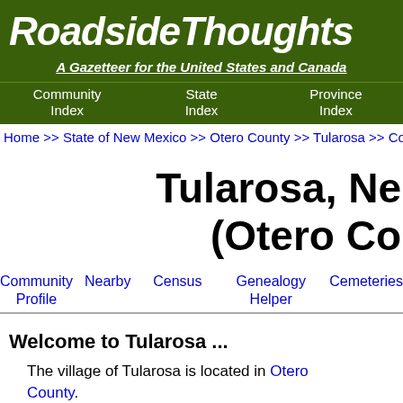RoadsideThoughts
A Gazetteer for the United States and Canada
Community Index   State Index   Province Index
Home >> State of New Mexico >> Otero County >> Tularosa >> Co...
Tularosa, Ne... (Otero Co...
Community Profile   Nearby   Census   Genealogy Helper   Cemeteries
Welcome to Tularosa ...
The village of Tularosa is located in Otero County.